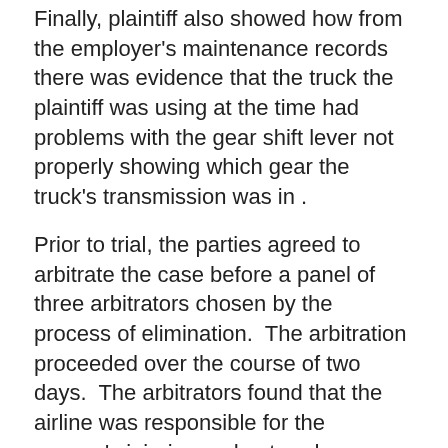Finally, plaintiff also showed how from the employer's maintenance records there was evidence that the truck the plaintiff was using at the time had problems with the gear shift lever not properly showing which gear the truck's transmission was in .
Prior to trial, the parties agreed to arbitrate the case before a panel of three arbitrators chosen by the process of elimination.  The arbitration proceeded over the course of two days.  The arbitrators found that the airline was responsible for the woman's injuries and entered an award for $3,800,000.  The arbitrators did reduce the award to